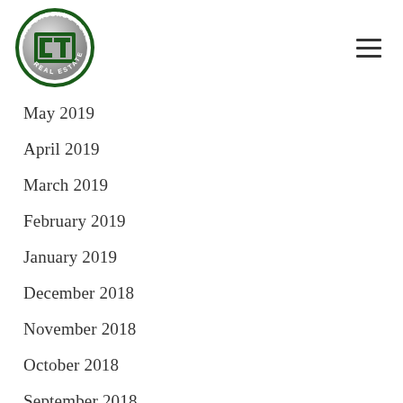[Figure (logo): The Cascade Team Real Estate circular logo with dark green border and stylized CT letters]
May 2019
April 2019
March 2019
February 2019
January 2019
December 2018
November 2018
October 2018
September 2018
August 2018
July 2018